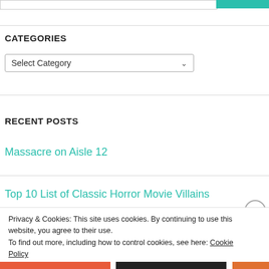CATEGORIES
[Figure (screenshot): Select Category dropdown box]
RECENT POSTS
Massacre on Aisle 12
Top 10 List of Classic Horror Movie Villains
Privacy & Cookies: This site uses cookies. By continuing to use this website, you agree to their use.
To find out more, including how to control cookies, see here: Cookie Policy
Close and accept